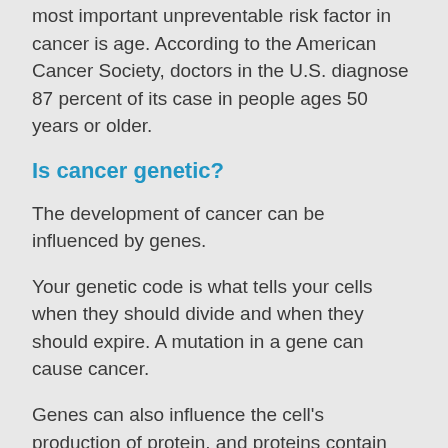most important unpreventable risk factor in cancer is age. According to the American Cancer Society, doctors in the U.S. diagnose 87 percent of its case in people ages 50 years or older.
Is cancer genetic?
The development of cancer can be influenced by genes.
Your genetic code is what tells your cells when they should divide and when they should expire. A mutation in a gene can cause cancer.
Genes can also influence the cell's production of protein, and proteins contain many instructions for cellular growth.
Some genes can alter the proteins of cells that have been damaged. This can lead to cancer. This can lead